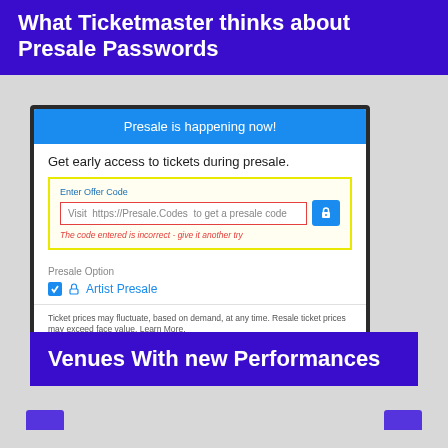What Ticketmaster thinks about Presale Passwords
[Figure (screenshot): Ticketmaster presale password UI screenshot showing a 'Presale is happening now!' header in blue, a yellow-bordered box with an 'Enter Offer Code' input field containing text 'Visit https://Presale.Codes to get a presale code', a red border on the input indicating error, an error message 'The code entered is incorrect - give it another try', a Presale Option section with a checked Artist Presale checkbox, a ticket price disclaimer, and an OK button.]
Venues With new Performances